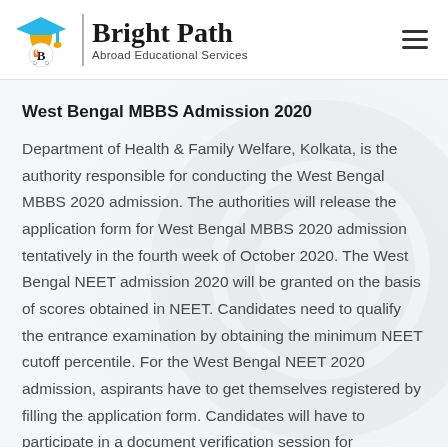[Figure (logo): Bright Path Abroad Educational Services logo with graduation cap icon and brand name]
West Bengal MBBS Admission 2020
Department of Health & Family Welfare, Kolkata, is the authority responsible for conducting the West Bengal MBBS 2020 admission. The authorities will release the application form for West Bengal MBBS 2020 admission tentatively in the fourth week of October 2020. The West Bengal NEET admission 2020 will be granted on the basis of scores obtained in NEET. Candidates need to qualify the entrance examination by obtaining the minimum NEET cutoff percentile. For the West Bengal NEET 2020 admission, aspirants have to get themselves registered by filling the application form. Candidates will have to participate in a document verification session for